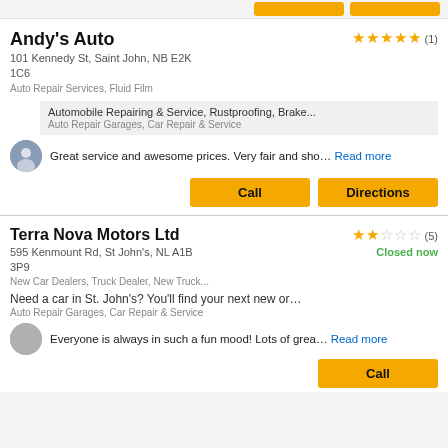Andy's Auto
101 Kennedy St, Saint John, NB E2K 1C6
Auto Repair Services, Fluid Film
Automobile Repairing & Service, Rustproofing, Brake...
Auto Repair Garages, Car Repair & Service
Great service and awesome prices. Very fair and sho...
Terra Nova Motors Ltd
595 Kenmount Rd, St John's, NL A1B 3P9
New Car Dealers, Truck Dealer, New Truck...
Need a car in St. John's? You'll find your next new or...
Auto Repair Garages, Car Repair & Service
Everyone is always in such a fun mood! Lots of grea...